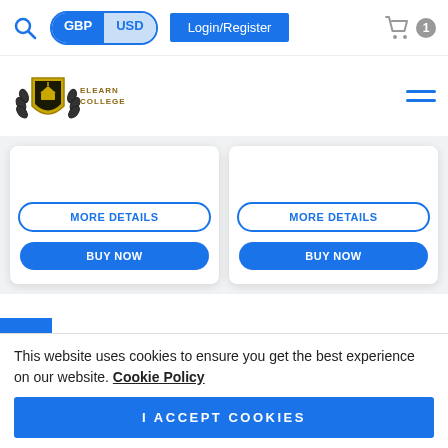[Figure (screenshot): Website top navigation bar with search icon, GBP/USD currency toggle, Login/Register button, and shopping cart with badge showing 1]
[Figure (logo): Elearn College shield logo with graduation cap and laurel wreath, text ELEARN COLLEGE below]
MORE DETAILS
BUY NOW
MORE DETAILS
BUY NOW
Beauty
This website uses cookies to ensure you get the best experience on our website. Cookie Policy
I ACCEPT COOKIES